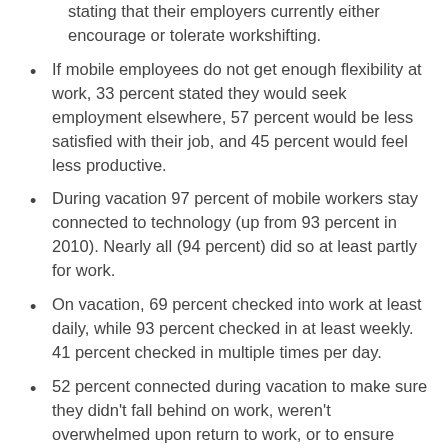stating that their employers currently either encourage or tolerate workshifting.
If mobile employees do not get enough flexibility at work, 33 percent stated they would seek employment elsewhere, 57 percent would be less satisfied with their job, and 45 percent would feel less productive.
During vacation 97 percent of mobile workers stay connected to technology (up from 93 percent in 2010). Nearly all (94 percent) did so at least partly for work.
On vacation, 69 percent checked into work at least daily, while 93 percent checked in at least weekly. 41 percent checked in multiple times per day.
52 percent connected during vacation to make sure they didn’t fall behind on work, weren’t overwhelmed upon return to work, or to ensure completion of a work project.